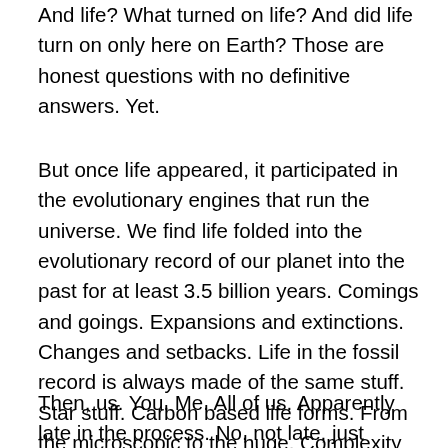And life?  What turned on life?  And did life turn on only here on Earth?  Those are honest questions with no definitive answers.  Yet.
But once life appeared, it participated in the evolutionary engines that run the universe.  We find life folded into the evolutionary record of our planet into the past for at least 3.5 billion years.  Comings and goings.  Expansions and extinctions.  Changes and setbacks.  Life in the fossil record is always made of the same stuff.  Star stuff.  Carbon based life forms.  From the microscopic to the huge.  Complexity out of simplicity.  Changing size, changing form.  Cleverness out of cleverness, ever adapting.  Made of star stuff; feeding on star stuff; living on star stuff.  Dying.  Dying?
Then, us.  You.  Me.  All of us.  Apparently late in the process.  No, not late, just recent.  Recent by the way we